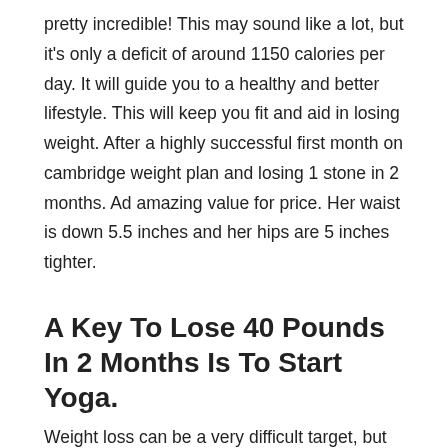pretty incredible! This may sound like a lot, but it's only a deficit of around 1150 calories per day. It will guide you to a healthy and better lifestyle. This will keep you fit and aid in losing weight. After a highly successful first month on cambridge weight plan and losing 1 stone in 2 months. Ad amazing value for price. Her waist is down 5.5 inches and her hips are 5 inches tighter.
A Key To Lose 40 Pounds In 2 Months Is To Start Yoga.
Weight loss can be a very difficult target, but in reality, you can learn how you can reduce your weight by 14 kg in two months by intelligently incorporating food and exercise into your daily routine. You can create a calorie